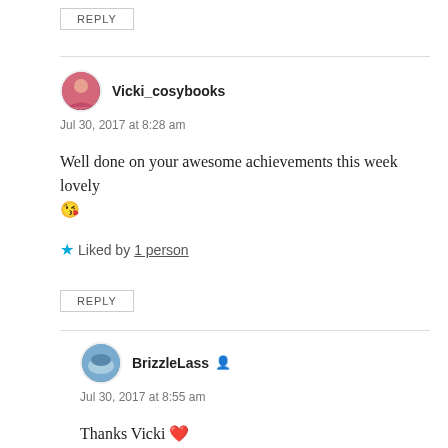REPLY
Vicki_cosybooks
Jul 30, 2017 at 8:28 am
Well done on your awesome achievements this week lovely 😘
★ Liked by 1 person
REPLY
BrizzleLass
Jul 30, 2017 at 8:55 am
Thanks Vicki ❤️